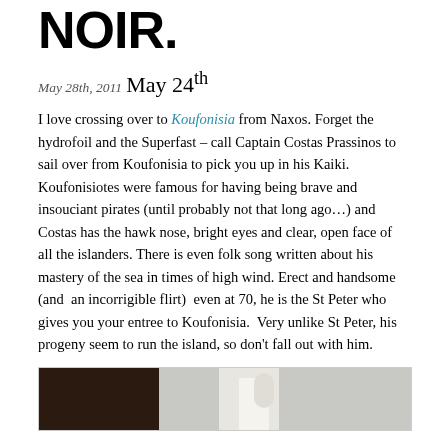NOIR.
May 28th, 2011
May 24th
I love crossing over to Koufonisia from Naxos. Forget the hydrofoil and the Superfast – call Captain Costas Prassinos to sail over from Koufonisia to pick you up in his Kaiki. Koufonisiotes were famous for having being brave and insouciant pirates (until probably not that long ago…) and Costas has the hawk nose, bright eyes and clear, open face of all the islanders. There is even folk song written about his mastery of the sea in times of high wind. Erect and handsome (and  an incorrigible flirt)  even at 70, he is the St Peter who gives you your entree to Koufonisia.  Very unlike St Peter, his progeny seem to run the island, so don't fall out with him.
[Figure (photo): Partial view of a photo at the bottom of the page, showing what appears to be a white-haired figure or similar subject with a dark background on the left.]